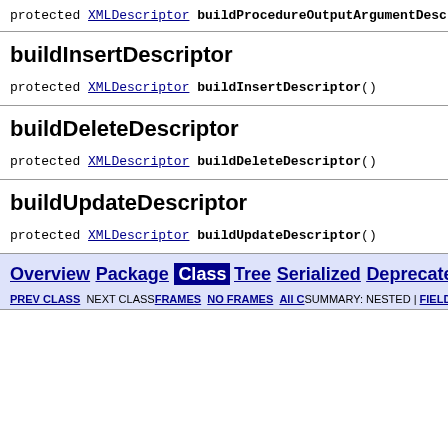protected XMLDescriptor buildProcedureOutputArgumentDescr...
buildInsertDescriptor
protected XMLDescriptor buildInsertDescriptor()
buildDeleteDescriptor
protected XMLDescriptor buildDeleteDescriptor()
buildUpdateDescriptor
protected XMLDescriptor buildUpdateDescriptor()
Overview Package Class Tree Serialized Deprecated Ind... PREV CLASS NEXT CLASS FRAMES NO FRAMES ALL C... SUMMARY: NESTED | FIELD | CONSTR | METHOD   DETAIL: FIELD | CONSTR | MET...